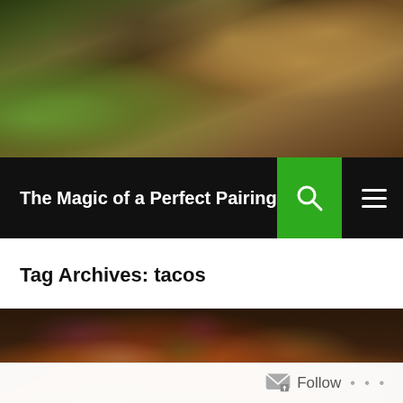[Figure (photo): Overhead view of food ingredients on a wooden table including green vegetables, garlic, a bowl of sauce, and a wooden cutting board]
The Magic of a Perfect Pairing
Tag Archives: tacos
[Figure (photo): Close-up photo of gourmet tacos garnished with edible flowers, microgreens and herbs, served on a wooden board with a small cup of red sauce in the center]